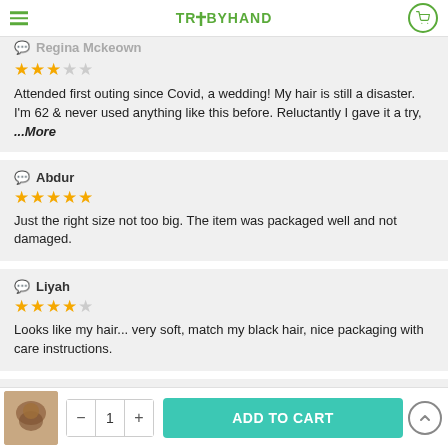TRABYHAND
Regina Mckeown
★★★☆☆
Attended first outing since Covid, a wedding! My hair is still a disaster. I'm 62 & never used anything like this before. Reluctantly I gave it a try, ...More
Abdur
★★★★★
Just the right size not too big. The item was packaged well and not damaged.
Liyah
★★★★☆
Looks like my hair... very soft, match my black hair, nice packaging with care instructions.
Derry
★★★★★
This matched my hair color perfectly. I am going to order another...
- 1 + ADD TO CART